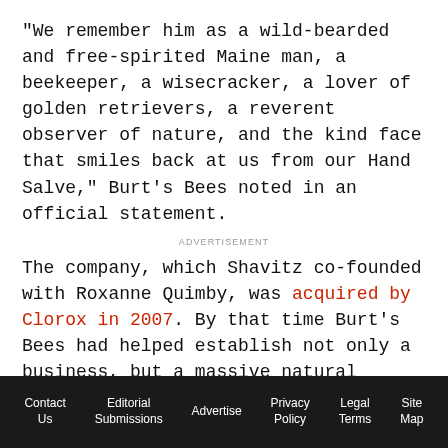"We remember him as a wild-bearded and free-spirited Maine man, a beekeeper, a wisecracker, a lover of golden retrievers, a reverent observer of nature, and the kind face that smiles back at us from our Hand Salve," Burt's Bees noted in an official statement.
ADVERTISEMENT
The company, which Shavitz co-founded with Roxanne Quimby, was acquired by Clorox in 2007. By that time Burt's Bees had helped establish not only a business, but a massive natural personal care industry, which Kline & Co. estimates will grow to $46 billion by 2018.
Contact Us | Editorial Submissions | Advertise | Privacy Policy | Legal Terms | Site Map